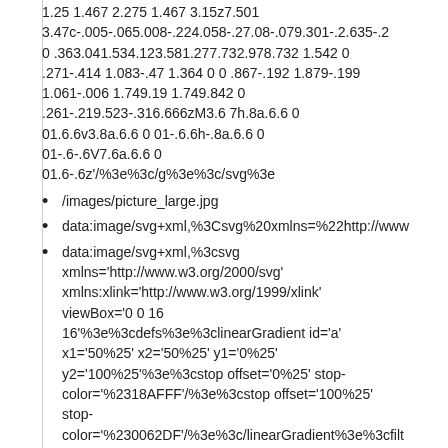1.25 1.467 2.275 1.467 3.15z7.501 3.47c-.005-.065.008-.224.058-.27.08-.079.301-.2.635-.2 0 .363.041.534.123.581.277.732.978.732 1.542 0 .271-.414 1.083-.47 1.364 0 0 .867-.192 1.879-.199 1.061-.006 1.749.19 1.749.842 0 .261-.219.523-.316.666zM3.6 7h.8a.6.6 0 01.6.6v3.8a.6.6 0 01-.6.6h-.8a.6.6 0 01-.6-.6V7.6a.6.6 0 01.6-.6z'/%3e%3c/g%3e%3c/svg%3e
/images/picture_large.jpg
data:image/svg+xml,%3Csvg%20xmlns=%22http://www...
data:image/svg+xml,%3csvg xmlns='http://www.w3.org/2000/svg' xmlns:xlink='http://www.w3.org/1999/xlink' viewBox='0 0 16 16'%3e%3cdefs%3e%3clinearGradient id='a' x1='50%25' x2='50%25' y1='0%25' y2='100%25'%3e%3cstop offset='0%25' stop-color='%2318AFFF'/%3e%3cstop offset='100%25' stop-color='%230062DF'/%3e%3c/linearGradient%3e%3cfilt id='c' width='118.8%25' height='118.8%25'